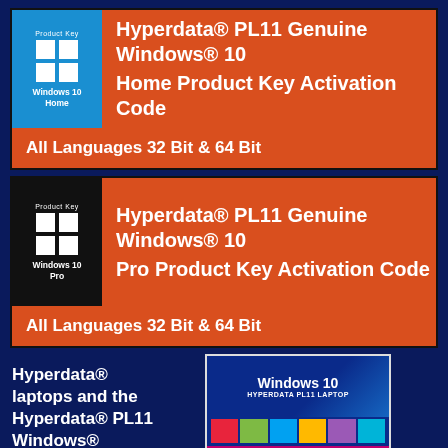[Figure (infographic): Orange card with Windows 10 Home product key branding. Blue Windows logo box on left with 'Product Key' text and 'Windows 10 Home' label. White text on right: 'Hyperdata® PL11 Genuine Windows® 10 Home Product Key Activation Code'. Bottom text: 'All Languages 32 Bit & 64 Bit'.]
[Figure (infographic): Orange card with Windows 10 Pro product key branding. Dark Windows logo box on left with 'Product Key' text and 'Windows 10 Pro' label. White text on right: 'Hyperdata® PL11 Genuine Windows® 10 Pro Product Key Activation Code'. Bottom text: 'All Languages 32 Bit & 64 Bit'.]
Hyperdata® laptops and the Hyperdata® PL11 Windows®
[Figure (screenshot): Thumbnail image showing Windows 10 HYPERDATA PL11 LAPTOP with Restore Solutions branding. Blue background with Windows 10 title, colorful tiles, and pink/magenta bottom bar.]